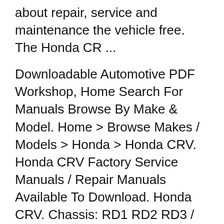about repair, service and maintenance the vehicle free. The Honda CR ...
Downloadable Automotive PDF Workshop, Home Search For Manuals Browse By Make & Model. Home > Browse Makes / Models > Honda > Honda CRV. Honda CRV Factory Service Manuals / Repair Manuals Available To Download. Honda CRV. Chassis: RD1 RD2 RD3 / Model Year: 1997 to 2001. View Workshop & Service Manuals [1 Manual Archived] Honda CR-V. Workshop and owners manuals for the Honda CR V. To read online or download as a PDF. Home Video Course Honda CR V. Honda Cr V Owners Manual (2009) 373 pages Honda Cr V Owners Manual